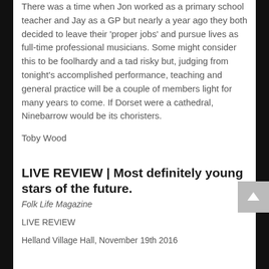There was a time when Jon worked as a primary school teacher and Jay as a GP but nearly a year ago they both decided to leave their 'proper jobs' and pursue lives as full-time professional musicians. Some might consider this to be foolhardy and a tad risky but, judging from tonight's accomplished performance, teaching and general practice will be a couple of members light for many years to come. If Dorset were a cathedral, Ninebarrow would be its choristers.
Toby Wood
LIVE REVIEW | Most definitely young stars of the future.
Folk Life Magazine
LIVE REVIEW
Helland Village Hall, November 19th 2016